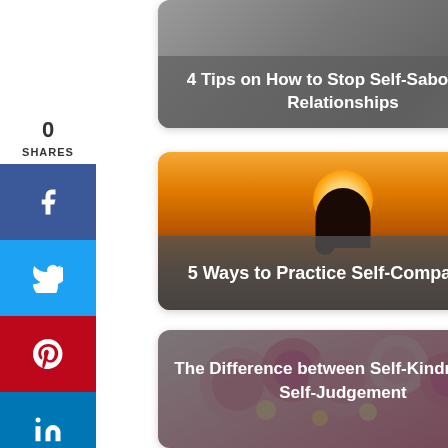[Figure (screenshot): Social share sidebar with 0 shares count and Facebook, Twitter, Pinterest, LinkedIn buttons]
[Figure (photo): Card: 4 Tips on How to Stop Self-Sabotaging Relationships - grey/dark photo background with text overlay]
[Figure (photo): Card: 5 Ways to Practice Self-Compassion - sunset silhouette photo with text overlay]
[Figure (photo): Card: The Difference between Self-Kindness vs. Self-Judgement - pink flowers photo with grey text overlay]